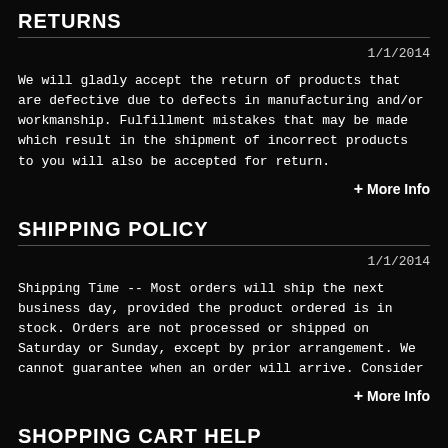RETURNS
1/1/2014
We will gladly accept the return of products that are defective due to defects in manufacturing and/or workmanship. Fulfillment mistakes that may be made which result in the shipment of incorrect products to you will also be accepted for return.
+ More Info
SHIPPING POLICY
1/1/2014
Shipping Time -- Most orders will ship the next business day, provided the product ordered is in stock. Orders are not processed or shipped on Saturday or Sunday, except by prior arrangement. We cannot guarantee when an order will arrive. Consider
+ More Info
SHOPPING CART HELP